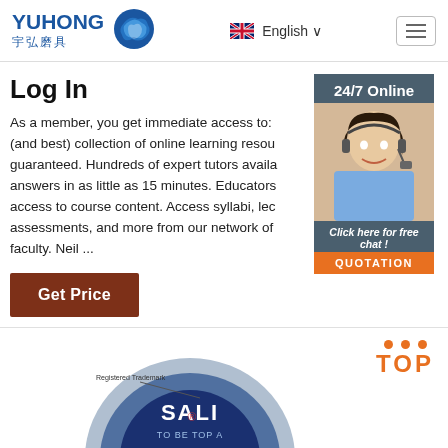YUHONG 宇弘磨具 | English | Menu
Log In
As a member, you get immediate access to: (and best) collection of online learning resou guaranteed. Hundreds of expert tutors availa answers in as little as 15 minutes. Educators access to course content. Access syllabi, lec assessments, and more from our network of faculty. Neil ...
[Figure (photo): Customer service representative with headset, 24/7 Online chat widget with QUOTATION button]
[Figure (photo): SALI branded abrasive product disk with Registered Trademark label and TOP badge with orange dots]